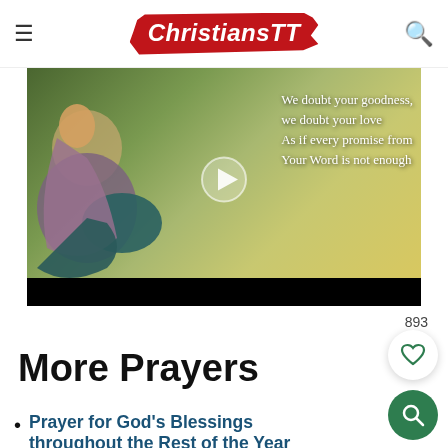ChristiansTT
[Figure (screenshot): Video thumbnail showing a woman sitting outdoors in a field with text overlay: 'We doubt your goodness, we doubt your love As if every promise from Your Word is not enough'. A play button is centered on the thumbnail.]
893
More Prayers
Prayer for God's Blessings throughout the Rest of the Year